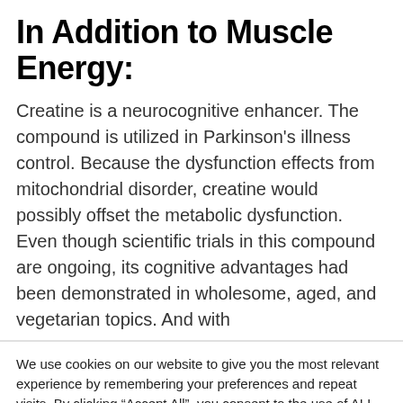In Addition to Muscle Energy:
Creatine is a neurocognitive enhancer. The compound is utilized in Parkinson’s illness control. Because the dysfunction effects from mitochondrial disorder, creatine would possibly offset the metabolic dysfunction. Even though scientific trials in this compound are ongoing, its cognitive advantages had been demonstrated in wholesome, aged, and vegetarian topics. And with
We use cookies on our website to give you the most relevant experience by remembering your preferences and repeat visits. By clicking “Accept All”, you consent to the use of ALL the cookies. However, you may visit "Cookie Settings" to provide a controlled consent.
Cookie Settings | Accept All